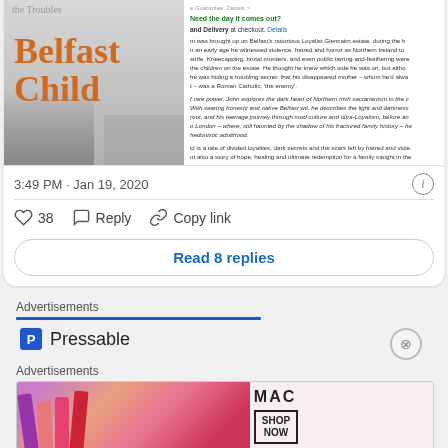[Figure (screenshot): Tweet card showing book cover for 'Belfast Child' with a boy's face, partial Amazon product description text on the right side]
3:49 PM · Jan 19, 2020
38  Reply  Copy link
Read 8 replies
Advertisements
[Figure (logo): Pressable logo — blue P icon and 'Pressable' text]
Advertisements
[Figure (photo): MAC cosmetics advertisement showing lipsticks and SHOP NOW button]